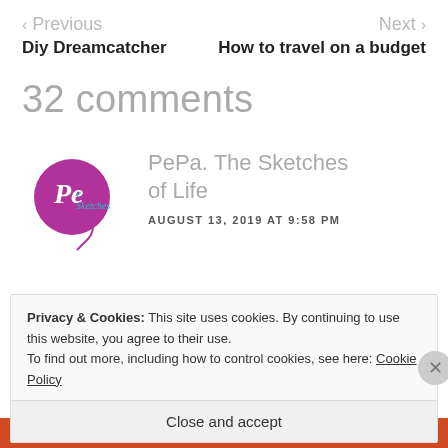< Previous | Next >
Diy Dreamcatcher
How to travel on a budget
32 comments
[Figure (logo): PePa. The Sketches of Life blog logo with magenta/pink circle and stylized handwriting]
PePa. The Sketches of Life
AUGUST 13, 2019 AT 9:58 PM
Privacy & Cookies: This site uses cookies. By continuing to use this website, you agree to their use.
To find out more, including how to control cookies, see here: Cookie Policy
Close and accept